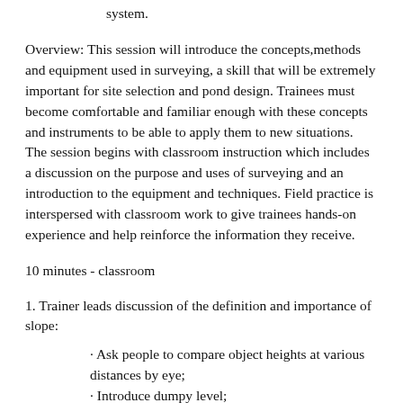system.
Overview: This session will introduce the concepts,methods and equipment used in surveying, a skill that will be extremely important for site selection and pond design. Trainees must become comfortable and familiar enough with these concepts and instruments to be able to apply them to new situations. The session begins with classroom instruction which includes a discussion on the purpose and uses of surveying and an introduction to the equipment and techniques. Field practice is interspersed with classroom work to give trainees hands-on experience and help reinforce the information they receive.
10 minutes - classroom
1. Trainer leads discussion of the definition and importance of slope:
· Ask people to compare object heights at various distances by eye;
· Introduce dumpy level;
· Brainstorm uses for dumpy level (building roads, building bridges